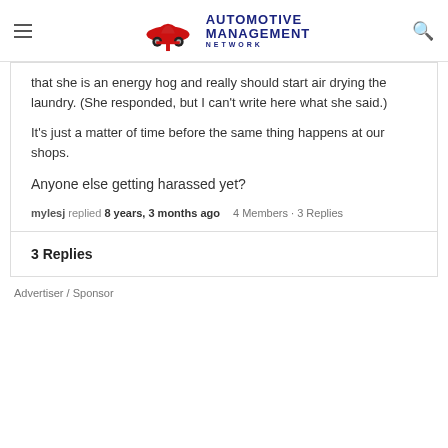Automotive Management Network
that she is an energy hog and really should start air drying the laundry. (She responded, but I can't write here what she said.)
It's just a matter of time before the same thing happens at our shops.
Anyone else getting harassed yet?
mylesj replied 8 years, 3 months ago   4 Members · 3 Replies
3 Replies
Advertiser / Sponsor